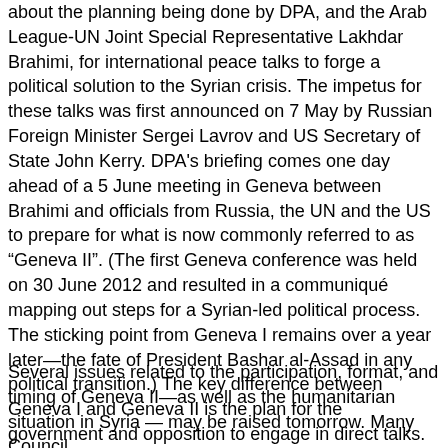about the planning being done by DPA, and the Arab League-UN Joint Special Representative Lakhdar Brahimi, for international peace talks to forge a political solution to the Syrian crisis. The impetus for these talks was first announced on 7 May by Russian Foreign Minister Sergei Lavrov and US Secretary of State John Kerry. DPA's briefing comes one day ahead of a 5 June meeting in Geneva between Brahimi and officials from Russia, the UN and the US to prepare for what is now commonly referred to as “Geneva II”. (The first Geneva conference was held on 30 June 2012 and resulted in a communiqué mapping out steps for a Syrian-led political process. The sticking point from Geneva I remains over a year later—the fate of President Bashar al-Assad in any political transition.) The key difference between Geneva I and Geneva II is the plan for the government and opposition to engage in direct talks.
Several issues related to the participation, format, and timing of Geneva II—as well as the humanitarian situation in Syria — may be raised tomorrow. Many Council